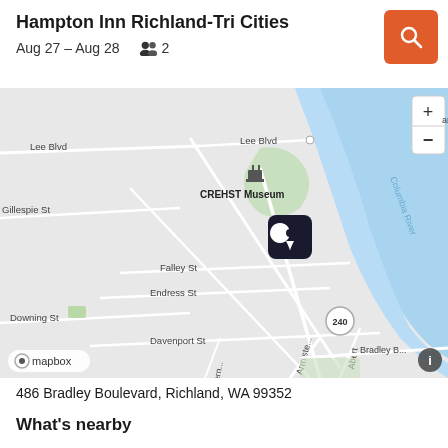Hampton Inn Richland-Tri Cities
Aug 27 – Aug 28    👥 2
[Figure (map): Mapbox street map centered on Hampton Inn Richland-Tri Cities near the Columbia River. Shows streets including Lee Blvd, Gillespie St, Falley St, Endress St, Downing St, Davenport St, Armistice, Aberdeen, Bradley Blvd, and route 240. CREHST Museum labeled. A dark location pin marks the hotel. Water (Columbia River) visible on right side. Mapbox attribution logo bottom left. Info button bottom right.]
486 Bradley Boulevard, Richland, WA 99352
What's nearby